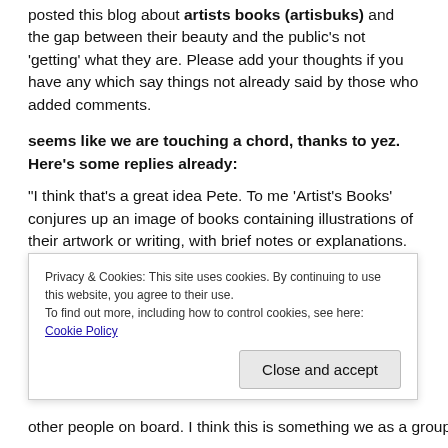posted this blog about artists books (artisbuks) and the gap between their beauty and the public's not 'getting' what they are. Please add your thoughts if you have any which say things not already said by those who added comments.
seems like we are touching a chord, thanks to yez. Here's some replies already:
"I think that's a great idea Pete. To me 'Artist's Books' conjures up an image of books containing illustrations of their artwork or writing, with brief notes or explanations. As opposed to a complete work that you would admire as much as a photograph or painting hanging on a wall. I would never expect the book to be hand-made." (Maxine, a 'normal' non-
Privacy & Cookies: This site uses cookies. By continuing to use this website, you agree to their use.
To find out more, including how to control cookies, see here: Cookie Policy
Close and accept
other people on board. I think this is something we as a group